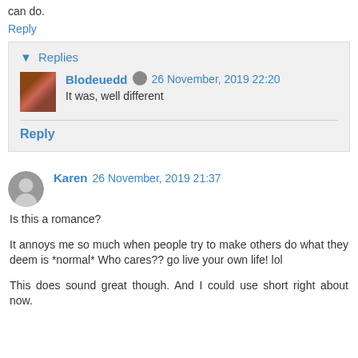can do.
Reply
▼ Replies
Blodeuedd 26 November, 2019 22:20
It was, well different
Reply
Karen 26 November, 2019 21:37
Is this a romance?
It annoys me so much when people try to make others do what they deem is *normal* Who cares?? go live your own life! lol
This does sound great though. And I could use short right about now.